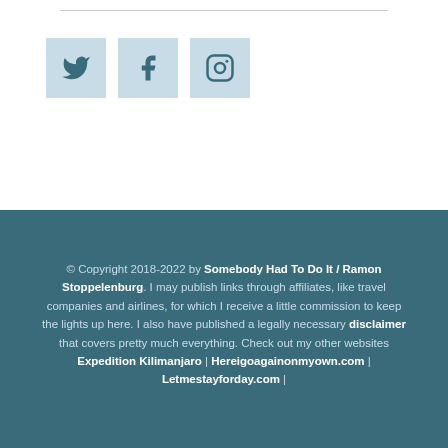[Figure (other): Three social media icon buttons: Twitter, Facebook, Instagram — displayed as light blue square buttons with icons]
© Copyright 2018-2022 by Somebody Had To Do It / Ramon Stoppelenburg. I may publish links through affiliates, like travel companies and airlines, for which I receive a little commission to keep the lights up here. I also have published a legally necessary disclaimer that covers pretty much everything. Check out my other websites Expedition Kilimanjaro | Hereigoagainonmyown.com | Letmestayforday.com |